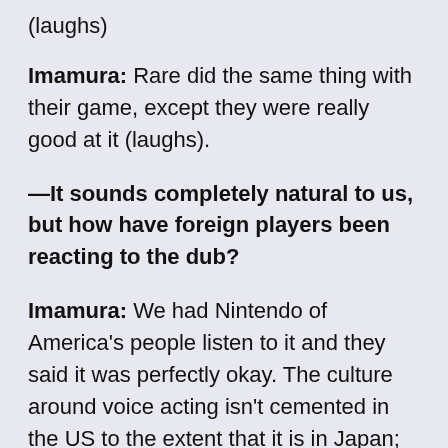(laughs)
Imamura: Rare did the same thing with their game, except they were really good at it (laughs).
—It sounds completely natural to us, but how have foreign players been reacting to the dub?
Imamura: We had Nintendo of America's people listen to it and they said it was perfectly okay. The culture around voice acting isn't cemented in the US to the extent that it is in Japan; in the US, voice acting is performed by regular actors, whereas in Japan, voice actors have a very specific and